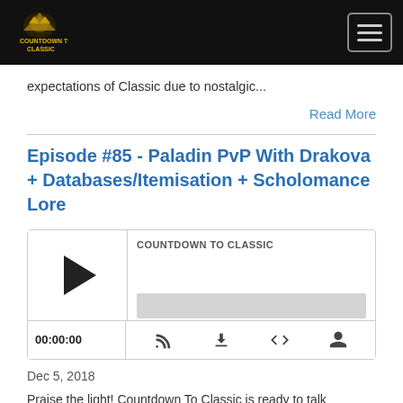Countdown To Classic
expectations of Classic due to nostalgic...
Read More
Episode #85 - Paladin PvP With Drakova + Databases/Itemisation + Scholomance Lore
[Figure (other): Podcast audio player widget with play button, progress bar showing 00:00:00, and controls for RSS, download, embed, and share. Labeled COUNTDOWN TO CLASSIC.]
Dec 5, 2018
Praise the light! Countdown To Classic is ready to talk everything Paladin PvP as Drakova comes in for an extensive chat about why you're using your Paladin wrong, and how you